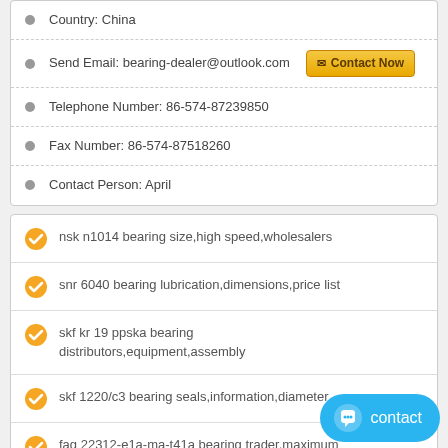Country: China
Send Email: bearing-dealer@outlook.com  [Contact Now]
Telephone Number: 86-574-87239850
Fax Number: 86-574-87518260
Contact Person: April
nsk n1014 bearing size,high speed,wholesalers
snr 6040 bearing lubrication,dimensions,price list
skf kr 19 ppska bearing distributors,equipment,assembly
skf 1220/c3 bearing seals,information,diameter
fag 22312-e1a-ma-t41a bearing trader,maximum Speed,sale
ina zarf60150tn bearing limiting